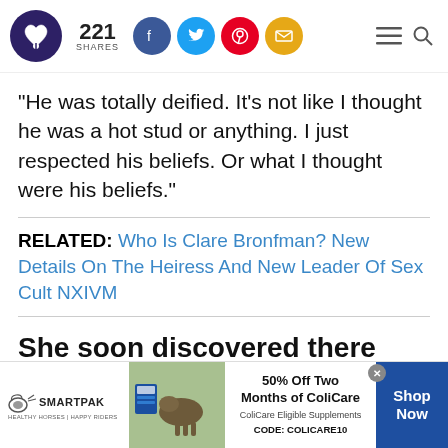221 SHARES — social share bar with Facebook, Twitter, Pinterest, Email icons
"He was totally deified. It's not like I thought he was a hot stud or anything. I just respected his beliefs. Or what I thought were his beliefs."
RELATED: Who Is Clare Bronfman? New Details On The Heiress And New Leader Of Sex Cult NXIVM
She soon discovered there was a cult
[Figure (screenshot): SmartPak advertisement banner: 50% Off Two Months of ColiCare, ColiCare Eligible Supplements, CODE: COLICARE10, Shop Now button, horse photo]